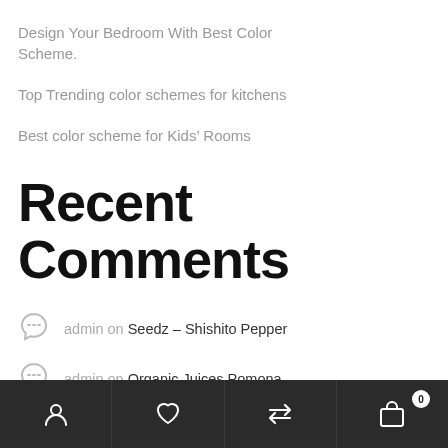Design Your Bedroom With Best Color Scheme.
Top Trending color schemes for kitchens
Best color scheme for Kids' Rooms
Recent Comments
admin on Seedz – Shishito Pepper
admin on Organic Juices Pomona
admin on Organic Baked Beans
User / Wishlist / Compare / Cart (0)